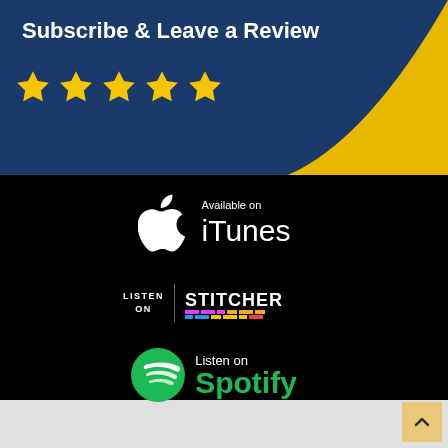Subscribe & Leave a Review
[Figure (logo): Five gold stars rating]
[Figure (logo): Available on iTunes badge with Apple logo]
[Figure (logo): Listen on Stitcher badge with colorful Stitcher logo]
[Figure (logo): Listen on Spotify badge with green Spotify logo and name]